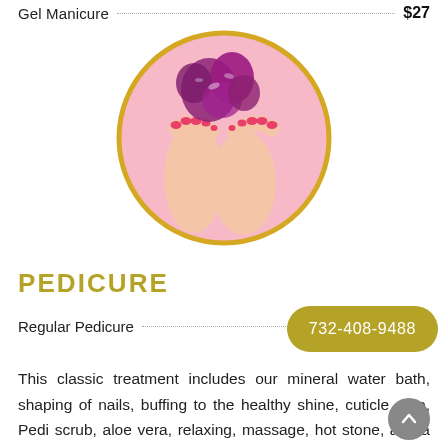Gel Manicure ... $27
[Figure (photo): Circular photo with gold border showing feet with pink nail polish and purple orchid flowers on a pink background]
PEDICURE
Regular Pedicure
732-408-9488
This classic treatment includes our mineral water bath, shaping of nails, buffing to the healthy shine, cuticle care, Pedi scrub, aloe vera, relaxing, massage, hot stone, and a hot